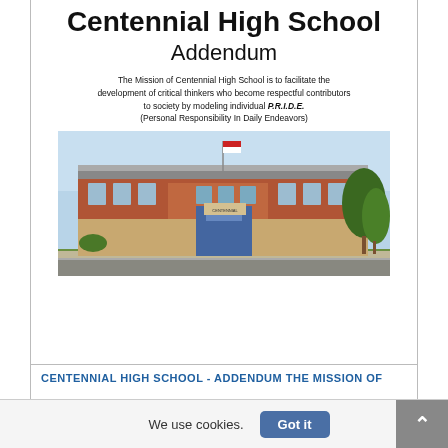Centennial High School Addendum
The Mission of Centennial High School is to facilitate the development of critical thinkers who become respectful contributors to society by modeling individual P.R.I.D.E. (Personal Responsibility In Daily Endeavors)
[Figure (photo): Photograph of Centennial High School building exterior, a large brick building with glass entrance and trees on the right side, blue sky in background.]
CENTENNIAL HIGH SCHOOL - ADDENDUM THE MISSION OF